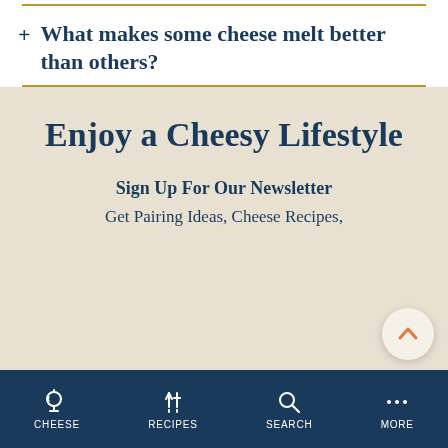+ What makes some cheese melt better than others?
Enjoy a Cheesy Lifestyle
Sign Up For Our Newsletter
Get Pairing Ideas, Cheese Recipes,
CHEESE  RECIPES  SEARCH  MORE